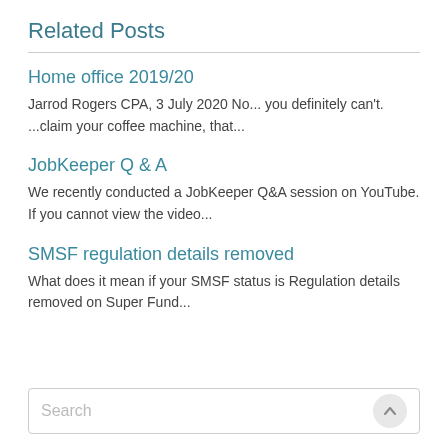Related Posts
Home office 2019/20
Jarrod Rogers CPA, 3 July 2020 No... you definitely can't. ...claim your coffee machine, that...
JobKeeper Q & A
We recently conducted a JobKeeper Q&A session on YouTube. If you cannot view the video...
SMSF regulation details removed
What does it mean if your SMSF status is Regulation details removed on Super Fund...